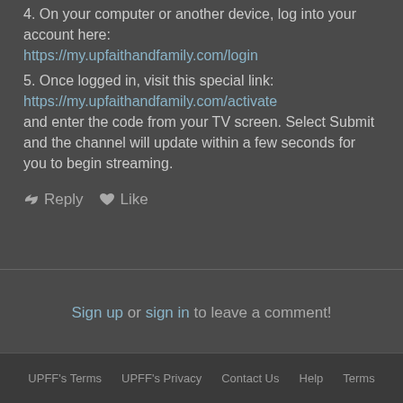4. On your computer or another device, log into your account here: https://my.upfaithandfamily.com/login
5. Once logged in, visit this special link: https://my.upfaithandfamily.com/activate and enter the code from your TV screen. Select Submit and the channel will update within a few seconds for you to begin streaming.
↩ Reply ♥ Like
Sign up or sign in to leave a comment!
UPFF's Terms   UPFF's Privacy   Contact Us   Help   Terms